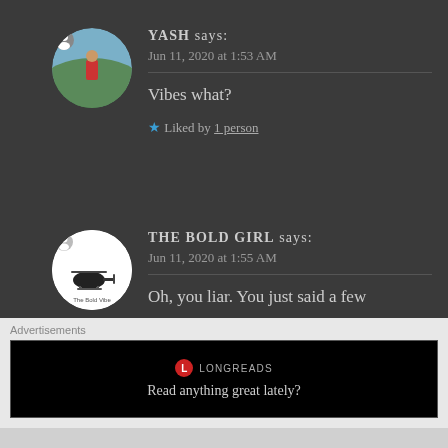YASH says: Jun 11, 2020 at 1:53 AM
Vibes what?
★ Liked by 1 person
THE BOLD GIRL says: Jun 11, 2020 at 1:55 AM
Oh, you liar. You just said a few
Advertisements
[Figure (logo): Longreads logo with red circle icon and text LONGREADS]
Read anything great lately?